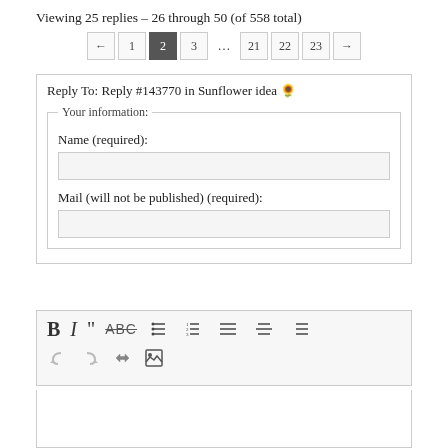Viewing 25 replies - 26 through 50 (of 558 total)
← 1 2 3 … 21 22 23 →
Reply To: Reply #143770 in Sunflower idea 🌻
Your information:
Name (required):
Mail (will not be published) (required):
[Figure (screenshot): Text editor toolbar with Bold, Italic, Quote, Strikethrough, unordered list, ordered list, align left, align center, align right buttons, plus undo, redo, link, and image buttons]